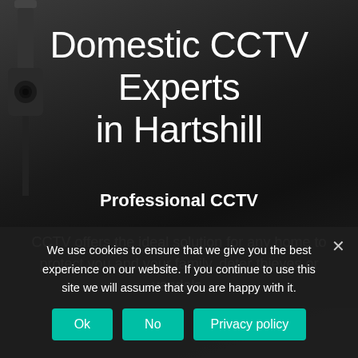[Figure (photo): Dark background with a security CCTV camera visible in the upper-left corner against a dark grey/black gradient background]
Domestic CCTV Experts in Hartshill
Professional CCTV
CCTV offers the ideal solution for any home to protect you and your family, deter thieves or vandals,
We use cookies to ensure that we give you the best experience on our website. If you continue to use this site we will assume that you are happy with it.